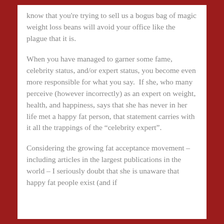know that you're trying to sell us a bogus bag of magic weight loss beans will avoid your office like the plague that it is.
When you have managed to garner some fame, celebrity status, and/or expert status, you become even more responsible for what you say. If she, who many perceive (however incorrectly) as an expert on weight, health, and happiness, says that she has never in her life met a happy fat person, that statement carries with it all the trappings of the “celebrity expert”.
Considering the growing fat acceptance movement – including articles in the largest publications in the world – I seriously doubt that she is unaware that happy fat people exist (and if